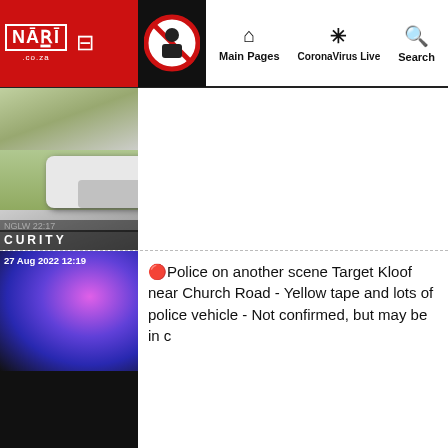NARI.co.za | Main Pages | CoronaVirus Live | Search
[Figure (screenshot): Thumbnail image showing police/security scene with white car on grass, with overlaid text 'CURITY']
[Figure (screenshot): Thumbnail with colorful bokeh/blurred lights background, timestamp '27 Aug 2022 12:19']
🔴Police on another scene Target Kloof near Church Road - Yellow tape and lots of police vehicle - Not confirmed, but may be in c
Loading, please wait...